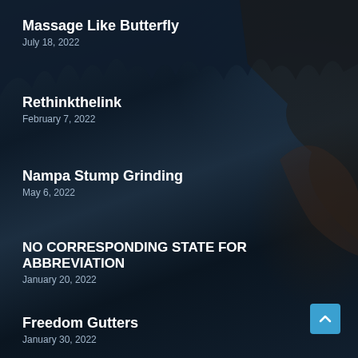Massage Like Butterfly
July 18, 2022
Rethinkthelink
February 7, 2022
Nampa Stump Grinding
May 6, 2022
NO CORRESPONDING STATE FOR ABBREVIATION
January 20, 2022
Freedom Gutters
January 30, 2022